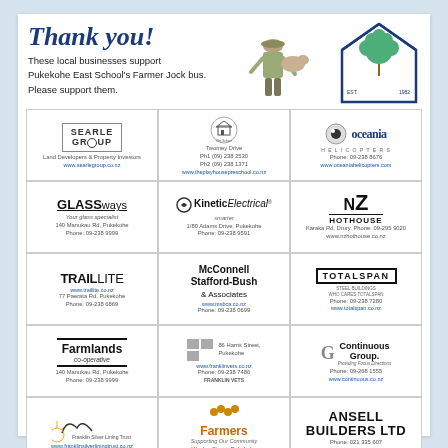Thank you!
These local businesses support Pukekohe East School's Farmer Jock bus. Please support them.
[Figure (logo): Pukekohe East School logo with tree]
[Figure (logo): Searle Group - Land Developers & Property Investors, www.searlegroup.co.nz]
[Figure (logo): The Playhouse Preschool - Twomey Drive, Ph1 (09) 238 2530, Ph2 (09) 238 1371, www.theplayhousepreschool.co.nz]
[Figure (logo): Oceania Helicopters - Phone: 09-238 8676, www.oceaniahelicopters.com]
[Figure (logo): GLASSways - Your glass specialist, 140 Manukau Rd, Pukekohe, Phone: 09-238 9999]
[Figure (logo): Kinetic Electrical smarter - 1/80 Adams Drive, Pukekohe, Phone: 09-238 9591]
[Figure (logo): NZ Hothouse - Karaka Rd, Drury. Phone: 09-295 9020, www.nzhothouse.co.nz]
[Figure (logo): TRAILLITE www.traillite.co.nz - 77 Paerata Rd, Pukekohe, Phone: 09-238 6869]
[Figure (logo): McConnell Stafford-Bush & Associates - www.msbca.co.nz, Phone: 09-238 0699]
[Figure (logo): TOTALSPAN - Phone: 09-238 7280, www.totalspan.co.nz]
[Figure (logo): Farmlands co-operative - 140 Manukau Rd, Pukekohe, Phone: 09-238 9999]
[Figure (logo): Franklin Vets - 86 Harris Street, Pukekohe, www.franklinvets.co.nz, Phone: 09-238 7486]
[Figure (logo): Continuous Group - Providing Focus Directions, Phone: 09-268 1555, www.continuous.co.nz]
[Figure (logo): Franklin Silver Lining Trust - www.franklinsilverliningtrust.co.nz]
[Figure (logo): Farmers Supporting Our Community - Wesley Street, Pukekohe, www.farmers.co.nz]
[Figure (logo): ANSELL BUILDERS LTD - Phone: 021 335 607, www.ansellbuilders.co.nz]
[Figure (logo): paperplus]
[Figure (logo): ISA Services Ltd t/a ISA Advertising, Charlene Burr]
[Figure (logo): manukau PANEL & PAINT LIMITED]